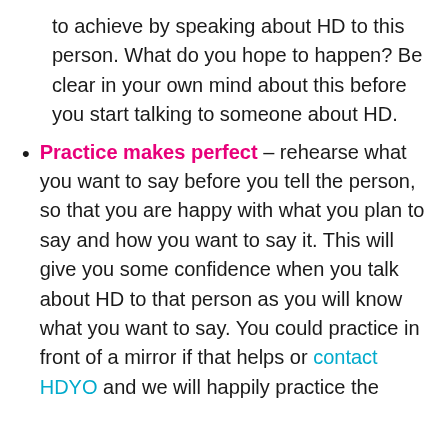to achieve by speaking about HD to this person. What do you hope to happen? Be clear in your own mind about this before you start talking to someone about HD.
Practice makes perfect – rehearse what you want to say before you tell the person, so that you are happy with what you plan to say and how you want to say it. This will give you some confidence when you talk about HD to that person as you will know what you want to say. You could practice in front of a mirror if that helps or contact HDYO and we will happily practice the